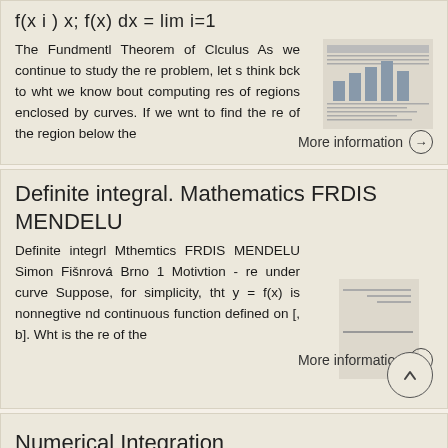The Fundmentl Theorem of Clculus As we continue to study the re problem, let s think bck to wht we know bout computing res of regions enclosed by curves. If we wnt to find the re of the region below the
More information →
Definite integral. Mathematics FRDIS MENDELU
Definite integrl Mthemtics FRDIS MENDELU Simon Fišnrová Brno 1 Motivtion - re under curve Suppose, for simplicity, tht y = f(x) is nonnegtive nd continuous function defined on [, b]. Wht is the re of the
More information →
Numerical Integration